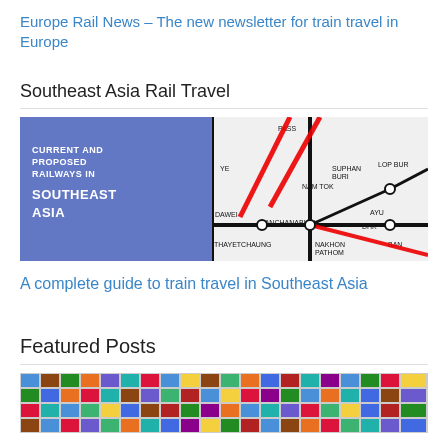Europe Rail News – The new newsletter for train travel in Europe
Southeast Asia Rail Travel
[Figure (map): Map of current and proposed railways in Southeast Asia showing rail lines through Thailand and surrounding region, with stations labeled including Ye, Pass, Nam Tok, Suphan Buri, Lop Buri, Dawei, Kanchanaburi, DHK, Ayu, Thayetchaung, Nakhon Pathom, Ban.]
A complete guide to train travel in Southeast Asia
Featured Posts
[Figure (photo): Grid of travel-related thumbnail images for featured posts.]